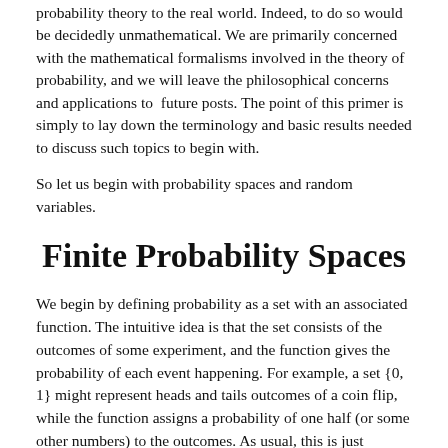probability theory to the real world. Indeed, to do so would be decidedly unmathematical. We are primarily concerned with the mathematical formalisms involved in the theory of probability, and we will leave the philosophical concerns and applications to future posts. The point of this primer is simply to lay down the terminology and basic results needed to discuss such topics to begin with.
So let us begin with probability spaces and random variables.
Finite Probability Spaces
We begin by defining probability as a set with an associated function. The intuitive idea is that the set consists of the outcomes of some experiment, and the function gives the probability of each event happening. For example, a set {0, 1} might represent heads and tails outcomes of a coin flip, while the function assigns a probability of one half (or some other numbers) to the outcomes. As usual, this is just intuition and not rigorous mathematics. And so the following definition will lay out the necessary condition for this probability to make sense.